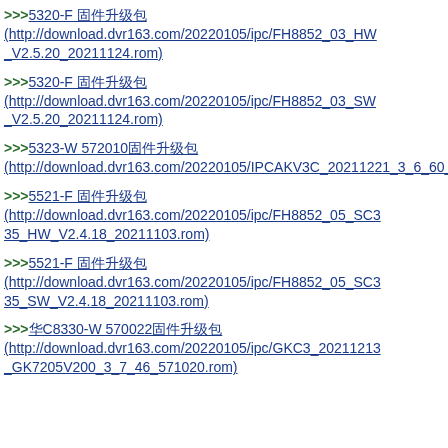>>>5320-F 固件升级包 (http://download.dvr163.com/20220105/ipc/FH8852_03_HW_V2.5.20_20211124.rom)
>>>5320-F 固件升级包 (http://download.dvr163.com/20220105/ipc/FH8852_03_SW_V2.5.20_20211124.rom)
>>>5323-W 572010固件升级包 (http://download.dvr163.com/20220105/IPCAKV3C_20211221_3_6_60_572010.rom)
>>>5521-F 固件升级包 (http://download.dvr163.com/20220105/ipc/FH8852_05_SC335_HW_V2.4.18_20211103.rom)
>>>5521-F 固件升级包 (http://download.dvr163.com/20220105/ipc/FH8852_05_SC335_SW_V2.4.18_20211103.rom)
>>>华C8330-W 570022固件升级包 (http://download.dvr163.com/20220105/ipc/GKC3_20211213_GK7205V200_3_7_46_571020.rom)